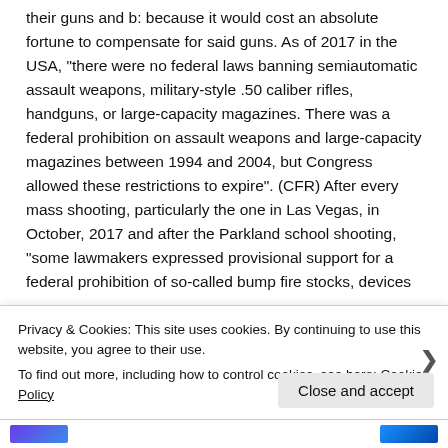their guns and b: because it would cost an absolute fortune to compensate for said guns. As of 2017 in the USA, "there were no federal laws banning semiautomatic assault weapons, military-style .50 caliber rifles, handguns, or large-capacity magazines. There was a federal prohibition on assault weapons and large-capacity magazines between 1994 and 2004, but Congress allowed these restrictions to expire". (CFR) After every mass shooting, particularly the one in Las Vegas, in October, 2017 and after the Parkland school shooting, "some lawmakers expressed provisional support for a federal prohibition of so-called bump fire stocks, devices
Privacy & Cookies: This site uses cookies. By continuing to use this website, you agree to their use.
To find out more, including how to control cookies, see here: Cookie Policy